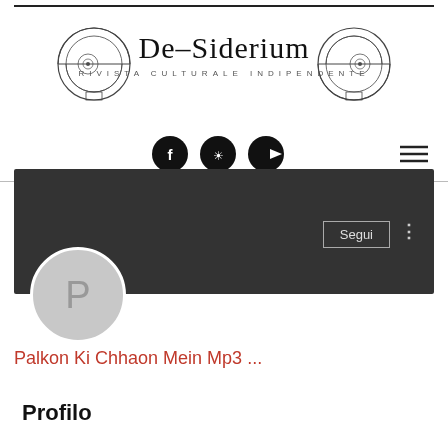[Figure (logo): De-Siderium logo with two decorative circular emblems flanking the text 'De-Siderium' and subtitle 'RIVISTA CULTURALE INDIPENDENTE']
[Figure (infographic): Navigation bar with social icons (Facebook, Soundcloud, YouTube) and hamburger menu]
[Figure (screenshot): Dark profile banner with 'P' avatar circle, 'Segui' follow button, and three-dot menu]
Palkon Ki Chhaon Mein Mp3 ...
Profilo